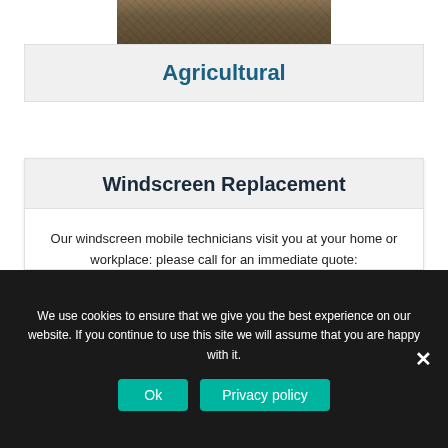[Figure (photo): Partial view of a grassy/soil agricultural field surface, brown and green tones, cropped at top]
Agricultural
Windscreen Replacement
Our windscreen mobile technicians visit you at your home or workplace: please call for an immediate quote:
Read More
We use cookies to ensure that we give you the best experience on our website. If you continue to use this site we will assume that you are happy with it.